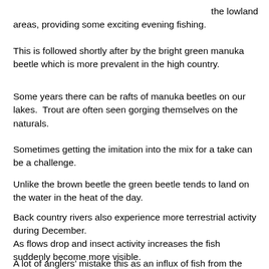the lowland areas, providing some exciting evening fishing.
This is followed shortly after by the bright green manuka beetle which is more prevalent in the high country.
Some years there can be rafts of manuka beetles on our lakes.  Trout are often seen gorging themselves on the naturals.
Sometimes getting the imitation into the mix for a take can be a challenge.
Unlike the brown beetle the green beetle tends to land on the water in the heat of the day.
Back country rivers also experience more terrestrial activity during December.
As flows drop and insect activity increases the fish suddenly become more visible.
A lot of anglers' mistake this as an influx of fish from the